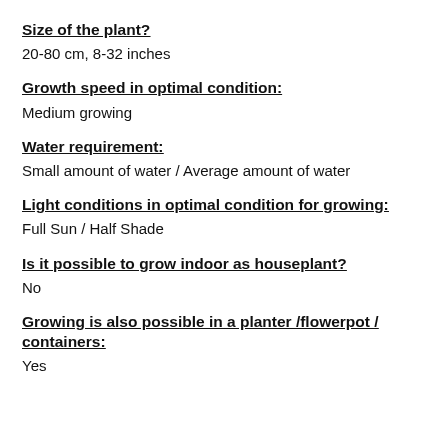Size of the plant?
20-80 cm, 8-32 inches
Growth speed in optimal condition:
Medium growing
Water requirement:
Small amount of water / Average amount of water
Light conditions in optimal condition for growing:
Full Sun / Half Shade
Is it possible to grow indoor as houseplant?
No
Growing is also possible in a planter /flowerpot / containers:
Yes